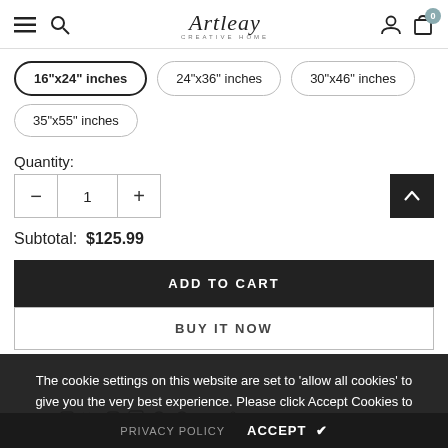Artleay - ecommerce navigation header
16"x24" inches (selected)
24"x36" inches
30"x46" inches
35"x55" inches
Quantity:
1
Subtotal: $125.99
ADD TO CART
BUY IT NOW
The cookie settings on this website are set to 'allow all cookies' to give you the very best experience. Please click Accept Cookies to continue to use the site.
PRIVACY POLICY   ACCEPT ✔
Share: